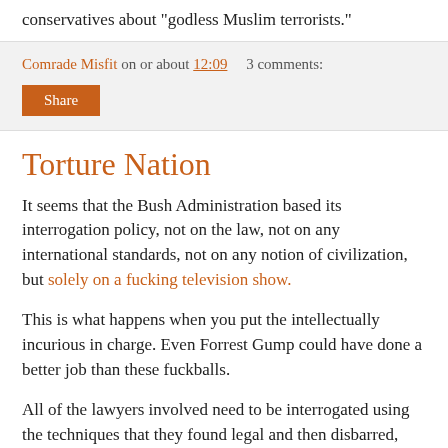conservatives about "godless Muslim terrorists."
Comrade Misfit on or about 12:09    3 comments:
Share
Torture Nation
It seems that the Bush Administration based its interrogation policy, not on the law, not on any international standards, not on any notion of civilization, but solely on a fucking television show.
This is what happens when you put the intellectually incurious in charge. Even Forrest Gump could have done a better job than these fuckballs.
All of the lawyers involved need to be interrogated using the techniques that they found legal and then disbarred, using the evidence obtained from those interrogations.